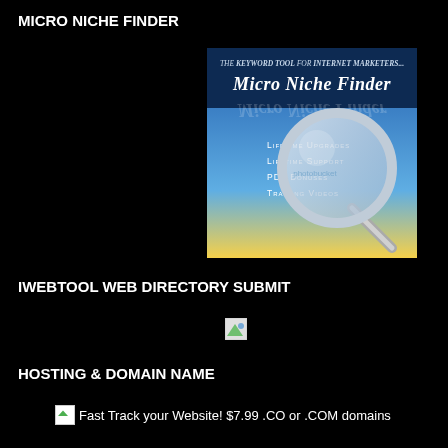MICRO NICHE FINDER
[Figure (illustration): Micro Niche Finder product image showing a magnifying glass over a blue and yellow sky background, with text: THE KEYWORD TOOL FOR INTERNET MARKETERS..., Micro Niche Finder, LIFETIME UPGRADES, LIFETIME SUPPORT, PDF BONUSES, TRAINING VIDEOS]
IWEBTOOL WEB DIRECTORY SUBMIT
[Figure (other): Broken/unloaded image icon (small)]
HOSTING & DOMAIN NAME
[Figure (other): Broken/unloaded image icon followed by text: Fast Track your Website! $7.99 .CO or .COM domains]